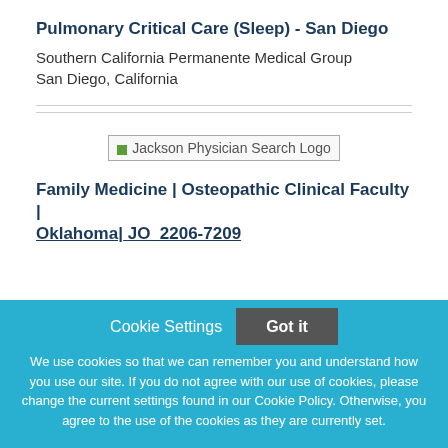Pulmonary Critical Care (Sleep) - San Diego
Southern California Permanente Medical Group
San Diego, California
[Figure (logo): Jackson Physician Search Logo]
Family Medicine | Osteopathic Clinical Faculty | Oklahoma| JO_2206-7209
Cookie Settings
Got it
We use cookies so that we can remember you and understand how you use our site. If you do not agree with our use of cookies, please change the current settings found in our Cookie Policy. Otherwise, you agree to the use of the cookies as they are currently set.